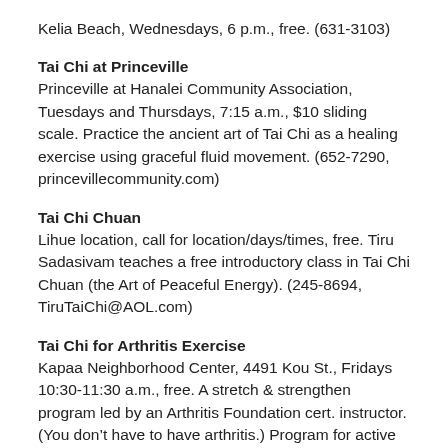Kelia Beach, Wednesdays, 6 p.m., free. (631-3103)
Tai Chi at Princeville
Princeville at Hanalei Community Association, Tuesdays and Thursdays, 7:15 a.m., $10 sliding scale. Practice the ancient art of Tai Chi as a healing exercise using graceful fluid movement. (652-7290, princevillecommunity.com)
Tai Chi Chuan
Lihue location, call for location/days/times, free. Tiru Sadasivam teaches a free introductory class in Tai Chi Chuan (the Art of Peaceful Energy). (245-8694, TiruTaiChi@AOL.com)
Tai Chi for Arthritis Exercise
Kapaa Neighborhood Center, 4491 Kou St., Fridays 10:30-11:30 a.m., free. A stretch & strengthen program led by an Arthritis Foundation cert. instructor. (You don’t have to have arthritis.) Program for active weight maintenance, and